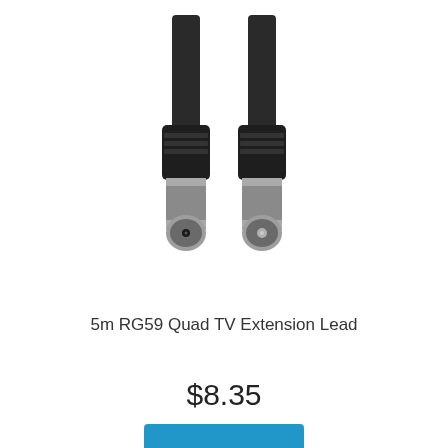[Figure (photo): Two black coaxial cable connectors (TV antenna plugs) — one male (pin) and one female (socket) — at the end of a black cable, photographed from the front on a white background.]
5m RG59 Quad TV Extension Lead
$8.35